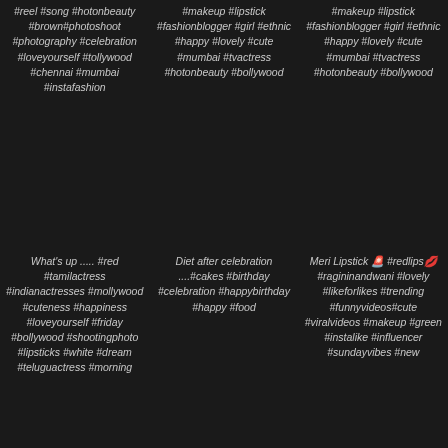#reel #song #hotonbeauty #brown#photoshoot #photography #celebration #loveyourself #tollywood #chennai #mumbai #instafashion
#makeup #lipstick #fashionblogger #girl #ethnic #happy #lovely #cute #mumbai #tvactress #hotonbeauty #bollywood
#makeup #lipstick #fashionblogger #girl #ethnic #happy #lovely #cute #mumbai #tvactress #hotonbeauty #bollywood
What's up ..... #red #tamilactress #indianactresses #mollywood #cuteness #happiness #loveyourself #friday #bollywood #shootingphoto #lipsticks #white #dream #teluguactress #morning
Diet after celebration ....#cakes #birthday #celebration #happybirthday #happy #food
Meri Lipstick 🚨 #redlips💋 #ragininandwani #lovely #likeforlikes #trending #funnyvideos#cute #viralvideos #makeup #green #instalike #influencer #sundayvibes #new